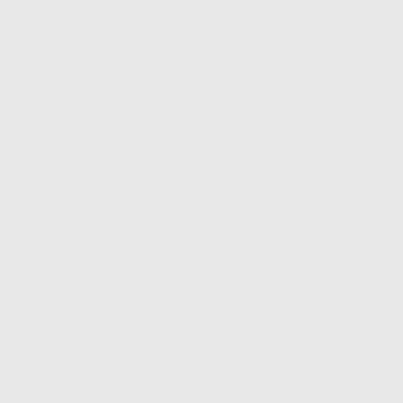then try to claim someone else's transaction as theirs.
It has been observed several times that businesses try to funnel all orders through the same bitcoin address, and ask people to send some BTC, then send email describing the timing and the amount of the transaction to
Do not do this. Give each customer a unique Bitcoin address.